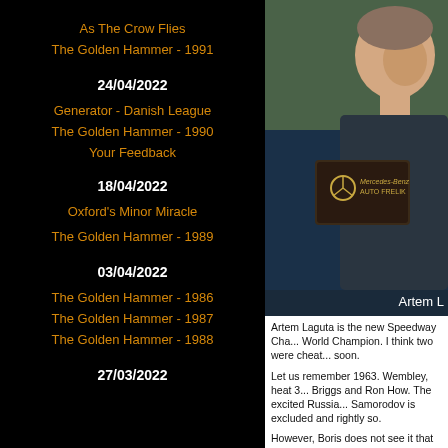As The Crow Flies
The Golden Hammer - 1991
24/04/2022
Generator - Danish League
The Golden Hammer - 1990
Your Feedback
18/04/2022
Oxford's Minor Miracle
The Golden Hammer - 1989
03/04/2022
The Golden Hammer - 1986
The Golden Hammer - 1987
The Golden Hammer - 1988
27/03/2022
[Figure (photo): Photo of a person smiling, wearing a Mercedes-Benz Auto Frelik branded bag/strap]
Artem L
Artem Laguta is the new Speedway Cha... World Champion. I think two were cheat... soon.
Let us remember 1963. Wembley, heat 3... Briggs and Ron How. The excited Russia... Samorodov is excluded and rightly so.
However, Boris does not see it that way... of international proportions.' Boris event... of 12 points. Beaten only by Bjorn Knuts...
The results; 1st Ove Fundin 14, 2nd Bar...